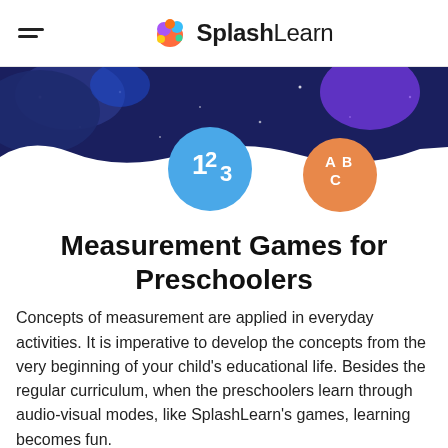SplashLearn
[Figure (illustration): Dark navy hero banner with colorful blob shapes, stars, a blue circle with '123' and an orange circle with 'ABC' letters]
Measurement Games for Preschoolers
Concepts of measurement are applied in everyday activities. It is imperative to develop the concepts from the very beginning of your child's educational life. Besides the regular curriculum, when the preschoolers learn through audio-visual modes, like SplashLearn's games, learning becomes fun.
[Figure (other): Filter button with funnel icon]
Personalized Learning